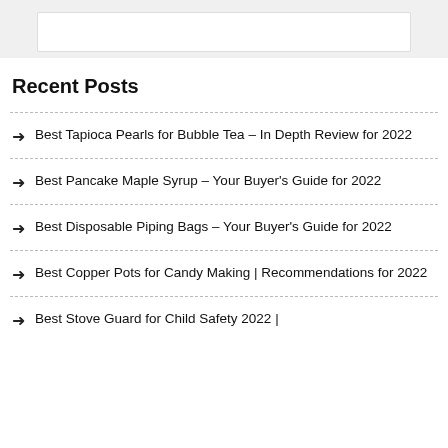Recent Posts
Best Tapioca Pearls for Bubble Tea – In Depth Review for 2022
Best Pancake Maple Syrup – Your Buyer's Guide for 2022
Best Disposable Piping Bags – Your Buyer's Guide for 2022
Best Copper Pots for Candy Making | Recommendations for 2022
Best Stove Guard for Child Safety 2022 |